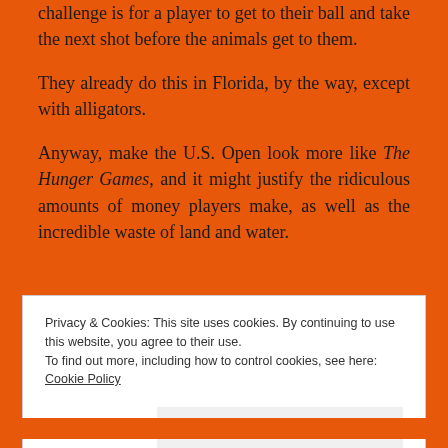challenge is for a player to get to their ball and take the next shot before the animals get to them.
They already do this in Florida, by the way, except with alligators.
Anyway, make the U.S. Open look more like The Hunger Games, and it might justify the ridiculous amounts of money players make, as well as the incredible waste of land and water.
Privacy & Cookies: This site uses cookies. By continuing to use this website, you agree to their use.
To find out more, including how to control cookies, see here: Cookie Policy
Close and accept